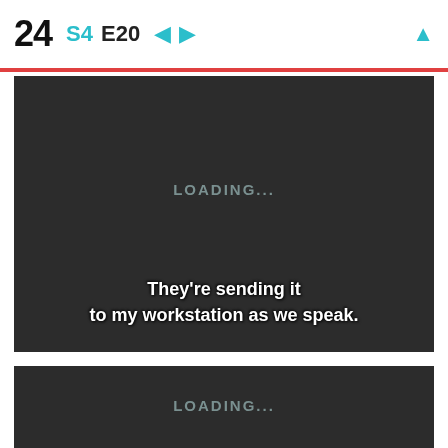24  S4  E20  ← →  ↑
[Figure (screenshot): Dark video player panel showing 'LOADING...' text centered, with subtitle text 'They're sending it to my workstation as we speak.' at the bottom]
[Figure (screenshot): Second dark video player panel showing 'LOADING...' text centered, partially visible at bottom of page]